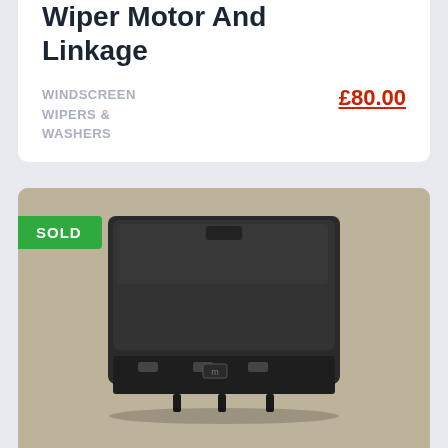(2010-2017) Front Wiper Motor And Linkage
WINDSCREEN WIPERS & WASHERS
£80.00
[Figure (photo): Photo of a Nissan Leaf glove box unit (black plastic) photographed on a concrete surface, with a SOLD badge overlay in green]
Nissan Leaf MK1 (2010-2017) Glove Box 2013